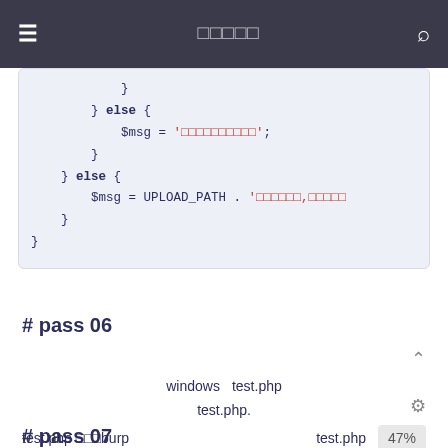≡  □□□□□  🔍
[Figure (screenshot): Code block showing PHP if/else logic with string assignments including $msg = '□□□□□□□□□□'; and $msg = UPLOAD_PATH . '□□□□□□,□□□□□]
# pass 06
windows   test.php
test.php.
test.php □□□burp   test.php   47%
# pass 07